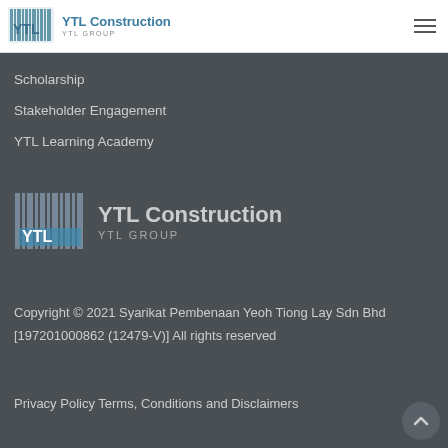[Figure (logo): YTL Construction YTL GROUP logo, top left header]
[Figure (other): Hamburger menu icon, top right header]
Scholarship
Stakeholder Engagement
YTL Learning Academy
[Figure (logo): YTL Construction YTL GROUP logo, large version in footer area]
Copyright © 2021 Syarikat Pembenaan Yeoh Tiong Lay Sdn Bhd [197201000862 (12479-V)] All rights reserved
Privacy Policy Terms, Conditions and Disclaimers
[Figure (other): Scroll to top button with upward chevron arrow]